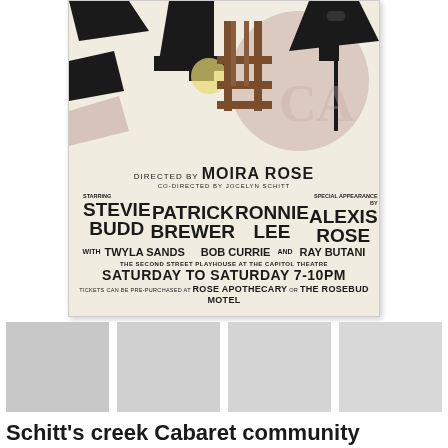[Figure (illustration): Theater cabaret poster with stylized illustration at top showing a chair and microphone silhouette against a cream/black/mauve background. Text below reads: DIRECTED BY MOIRA ROSE, CO-DIRECTED BY JOCELYN SCHITT, STARRING STEVIE BUDD, PATRICK BREWER, RONNIE LEE, SPECIAL APPEARANCE BY ALEXIS ROSE, WITH TWYLA SANDS, BOB CURRIE, AND RAY BUTANI, THE SECOND STREET PLAYHOUSE AT THE CAPITOL THEATRE, SATURDAY TO SATURDAY 7-10PM, TICKETS CAN BE PRE-PURCHASED AT ROSE APOTHECARY OR THE ROSEBUD MOTEL]
[Figure (photo): Four small grey thumbnail images in a row below the poster]
Schitt's creek Cabaret community